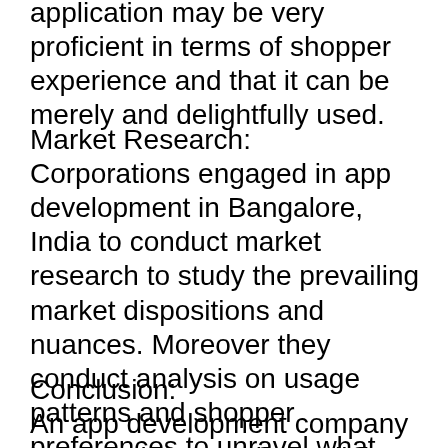application may be very proficient in terms of shopper experience and that it can be merely and delightfully used.
Market Research:
Corporations engaged in app development in Bangalore, India to conduct market research to study the prevailing market dispositions and nuances. Moreover they conduct analysis on usage patterns and shopper preferences to unravel what kind of app idea will also be successful. Except for for this, they conduct market research to gauge the cost effectiveness of the app idea. With this data, they can merely perform new ideas to introduce to {the marketplace}.
Conclusion:
An app development company in Bangalore supplies cellular app development and web